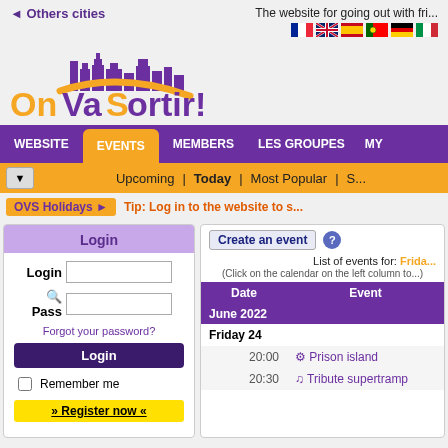Others cities
The website for going out with friends
[Figure (logo): OnVaSortir! logo with purple cityscape silhouette and orange swoosh, tagline: Reviens à la vie réelle]
Navigation: WEBSITE | EVENTS | MEMBERS | LES GROUPES | MY
Sub-navigation: Upcoming | Today | Most Popular | S...
OVS Holidays ►
Tip: Log in to the website to s...
Create an event
List of events for: Friday... (Click on the calendar on the left column to...)
| Date | Event |
| --- | --- |
| June 2022 |  |
| Friday 24 |  |
| 20:00 | Prison island |
| 20:30 | Tribute supertramp |
Login
Login | Pass | Forgot your password?
Login button
Remember me
» Register now «